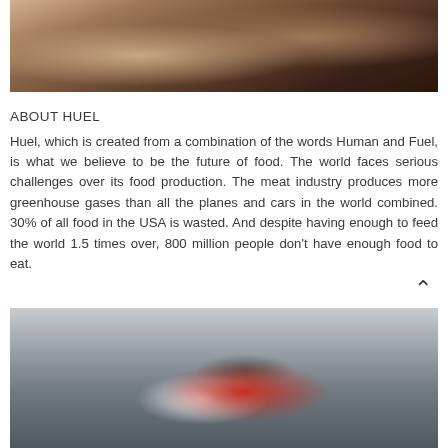[Figure (photo): Close-up photo of people with long dark hair, cropped at top of page]
ABOUT HUEL
Huel, which is created from a combination of the words Human and Fuel, is what we believe to be the future of food. The world faces serious challenges over its food production. The meat industry produces more greenhouse gases than all the planes and cars in the world combined. 30% of all food in the USA is wasted. And despite having enough to feed the world 1.5 times over, 800 million people don't have enough food to eat.
[Figure (photo): Photo of a person in a red jacket and grey hat, bending over in a mountainous landscape with overcast sky]